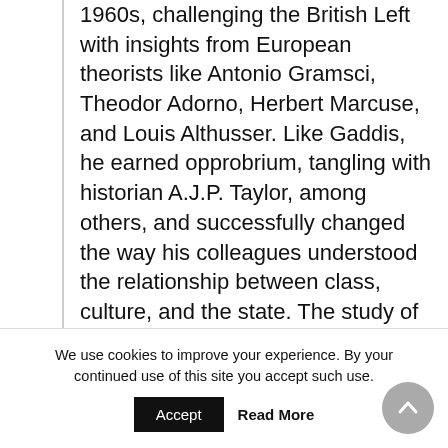1960s, challenging the British Left with insights from European theorists like Antonio Gramsci, Theodor Adorno, Herbert Marcuse, and Louis Althusser. Like Gaddis, he earned opprobrium, tangling with historian A.J.P. Taylor, among others, and successfully changed the way his colleagues understood the relationship between class, culture, and the state. The study of power, Anderson asserted, had to be entangled with the study of empire
We use cookies to improve your experience. By your continued use of this site you accept such use.